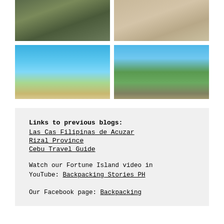[Figure (photo): Rocky cliff landscape with sparse vegetation and a person standing]
[Figure (photo): Sandy beach with light-colored sand]
[Figure (photo): Turquoise tropical beach with people near the water, blue sky with clouds]
[Figure (photo): Person sitting on rocks on a hillside with ruins or structure visible in background]
Links to previous blogs:
Las Cas Filipinas de Acuzar
Rizal Province
Cebu Travel Guide
Watch our Fortune Island video in YouTube: Backpacking Stories PH
Our Facebook page: Backpacking